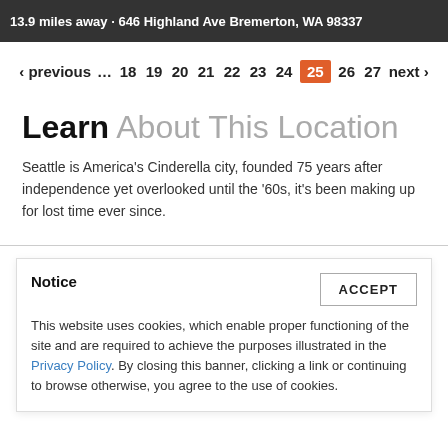13.9 miles away · 646 Highland Ave Bremerton, WA 98337
‹ previous … 18 19 20 21 22 23 24 25 26 27 next ›
Learn About This Location
Seattle is America's Cinderella city, founded 75 years after independence yet overlooked until the '60s, it's been making up for lost time ever since.
Notice
This website uses cookies, which enable proper functioning of the site and are required to achieve the purposes illustrated in the Privacy Policy. By closing this banner, clicking a link or continuing to browse otherwise, you agree to the use of cookies.